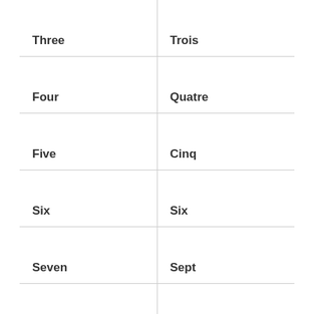| Three | Trois |
| Four | Quatre |
| Five | Cinq |
| Six | Six |
| Seven | Sept |
| Eight | Huit |
|  |  |